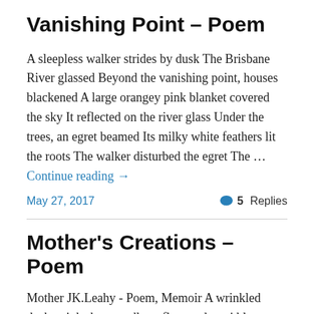Vanishing Point – Poem
A sleepless walker strides by dusk The Brisbane River glassed Beyond the vanishing point, houses blackened A large orangey pink blanket covered the sky It reflected on the river glass Under the trees, an egret beamed Its milky white feathers lit the roots The walker disturbed the egret The … Continue reading →
May 27, 2017
5 Replies
Mother's Creations – Poem
Mother JK.Leahy  - Poem, Memoir A wrinkled dusky pink sheet cradles a flowered meri blouse, a laplap and a bible